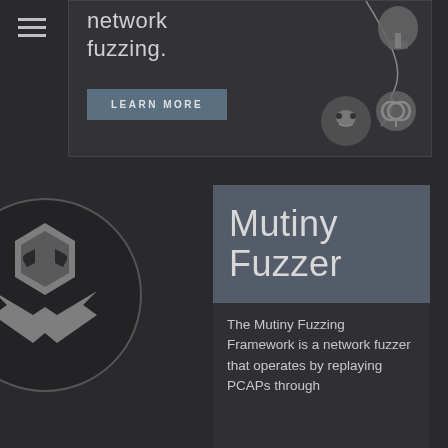[Figure (screenshot): Top banner section of a dark-themed website showing 'network fuzzing.' text and a LEARN MORE button, with security icons (helmet, biohazard, alien face) on the right]
[Figure (logo): Mutiny Fuzzer logo: a dark circle containing a grey hexagonal alien/robot face with crossed bones below]
Mutiny Fuzzer
The Mutiny Fuzzing Framework is a network fuzzer that operates by replaying PCAPs through...